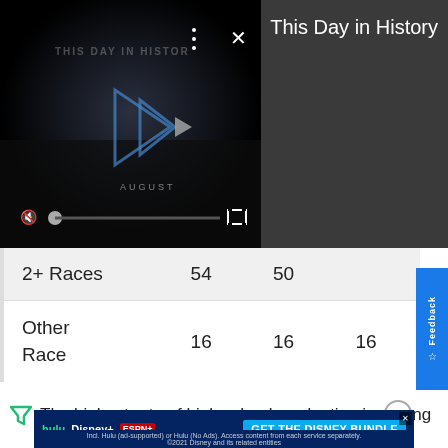[Figure (screenshot): Video player showing 'This Day in History' with play controls, mute icon, progress bar, and fullscreen button on dark background]
This Day in History
| 2+ Races | 54 | 50 |  |
| Other Race | 16 | 16 | 16 |
The highest rate of high school graduation is among
[Figure (screenshot): Advertisement banner: hulu Disney+ ESPN+ GET THE DISNEY BUNDLE. Incl. Hulu (ad-supported) or Hulu (No Ads). Access content from each service separately. ©2021 Disney and its related entities]